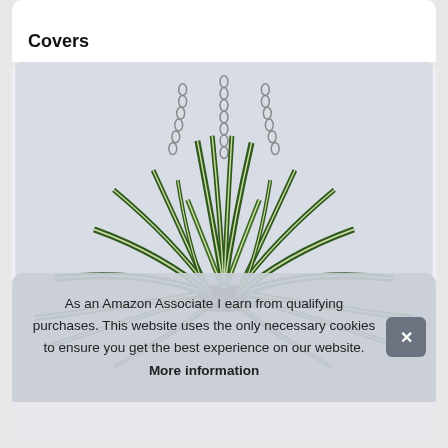Covers
[Figure (photo): A hanging spider plant (Chlorophytum comosum) with long green and white striped leaves, suspended by a metal chain against a light background.]
As an Amazon Associate I earn from qualifying purchases. This website uses the only necessary cookies to ensure you get the best experience on our website. More information